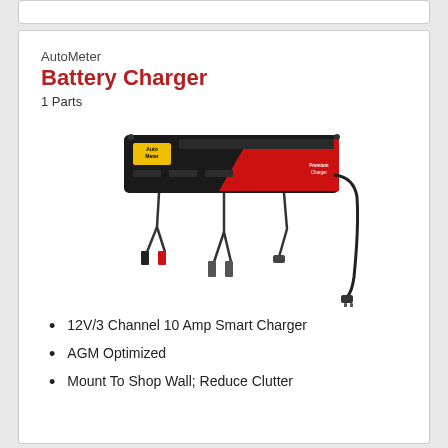AutoMeter
Battery Charger
1 Parts
[Figure (photo): AutoMeter battery charger unit — a black rectangular multi-channel charger with red accent stripe, AutoMeter logo, three sets of battery clamp cables hanging down, and a power cord on the right.]
12V/3 Channel 10 Amp Smart Charger
AGM Optimized
Mount To Shop Wall; Reduce Clutter